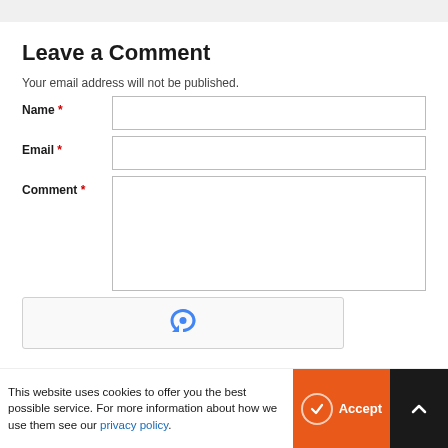Leave a Comment
Your email address will not be published.
Name *
Email *
Comment *
[Figure (other): reCAPTCHA widget box with reCAPTCHA logo]
This website uses cookies to offer you the best possible service. For more information about how we use them see our privacy policy.